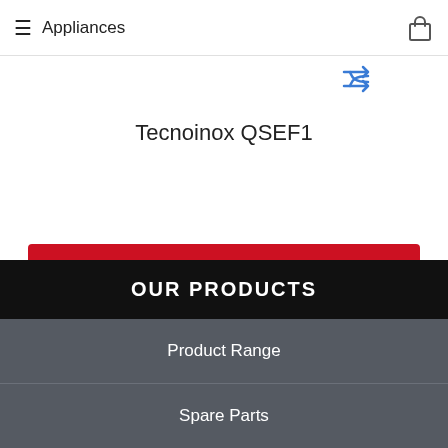≡ Appliances
[Figure (other): Shuffle/random icon (two crossed arrows)]
Tecnoinox QSEF1
View More
OUR PRODUCTS
Product Range
Spare Parts